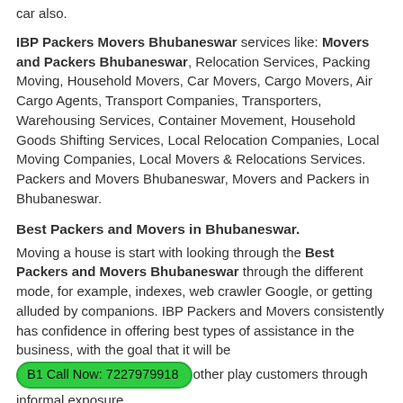car also.
IBP Packers Movers Bhubaneswar services like: Movers and Packers Bhubaneswar, Relocation Services, Packing Moving, Household Movers, Car Movers, Cargo Movers, Air Cargo Agents, Transport Companies, Transporters, Warehousing Services, Container Movement, Household Goods Shifting Services, Local Relocation Companies, Local Moving Companies, Local Movers & Relocations Services. Packers and Movers Bhubaneswar, Movers and Packers in Bhubaneswar.
Best Packers and Movers in Bhubaneswar.
Moving a house is start with looking through the Best Packers and Movers Bhubaneswar through the different mode, for example, indexes, web crawler Google, or getting alluded by companions. IBP Packers and Movers consistently has confidence in offering best types of assistance in the business, with the goal that it will be other play customers through informal exposure.
B1 Call Now: 7227979918
B1 Whatsapp Now: 7227979918
Packers and movers price in Bhubaneswar.